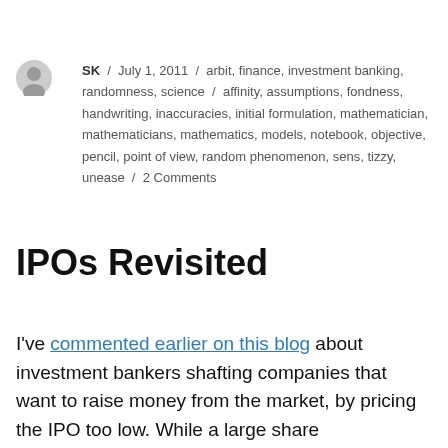SK / July 1, 2011 / arbit, finance, investment banking, randomness, science / affinity, assumptions, fondness, handwriting, inaccuracies, initial formulation, mathematician, mathematicians, mathematics, models, notebook, objective, pencil, point of view, random phenomenon, sens, tizzy, unease / 2 Comments
IPOs Revisited
I've commented earlier on this blog about investment bankers shafting companies that want to raise money from the market, by pricing the IPO too low. While a large share